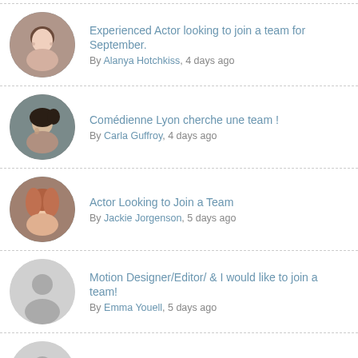Experienced Actor looking to join a team for September. By Alanya Hotchkiss, 4 days ago
Comédienne Lyon cherche une team ! By Carla Guffroy, 4 days ago
Actor Looking to Join a Team By Jackie Jorgenson, 5 days ago
Motion Designer/Editor/ & I would like to join a team! By Emma Youell, 5 days ago
Editor/Actor Looking for a Team! By Noah Simmons, 5 days ago